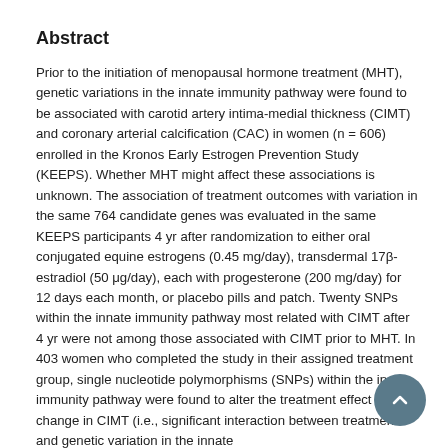Abstract
Prior to the initiation of menopausal hormone treatment (MHT), genetic variations in the innate immunity pathway were found to be associated with carotid artery intima-medial thickness (CIMT) and coronary arterial calcification (CAC) in women (n = 606) enrolled in the Kronos Early Estrogen Prevention Study (KEEPS). Whether MHT might affect these associations is unknown. The association of treatment outcomes with variation in the same 764 candidate genes was evaluated in the same KEEPS participants 4 yr after randomization to either oral conjugated equine estrogens (0.45 mg/day), transdermal 17β-estradiol (50 μg/day), each with progesterone (200 mg/day) for 12 days each month, or placebo pills and patch. Twenty SNPs within the innate immunity pathway most related with CIMT after 4 yr were not among those associated with CIMT prior to MHT. In 403 women who completed the study in their assigned treatment group, single nucleotide polymorphisms (SNPs) within the innate immunity pathway were found to alter the treatment effect on 4 yr change in CIMT (i.e., significant interaction between treatment and genetic variation in the innate